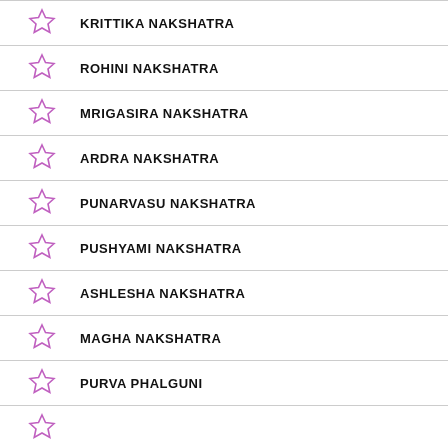KRITTIKA NAKSHATRA
ROHINI NAKSHATRA
MRIGASIRA NAKSHATRA
ARDRA NAKSHATRA
PUNARVASU NAKSHATRA
PUSHYAMI NAKSHATRA
ASHLESHA NAKSHATRA
MAGHA NAKSHATRA
PURVA PHALGUNI